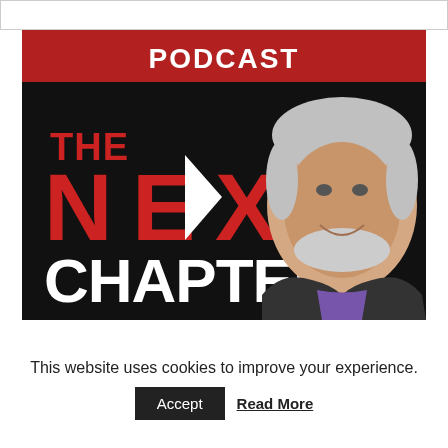[Figure (illustration): Podcast promotional image with red banner at top reading PODCAST, black background with large text THE NEXT CHAPTER in red and white, and a smiling older man with white hair and beard wearing a dark jacket over a purple shirt on the right side.]
This website uses cookies to improve your experience.
Accept   Read More